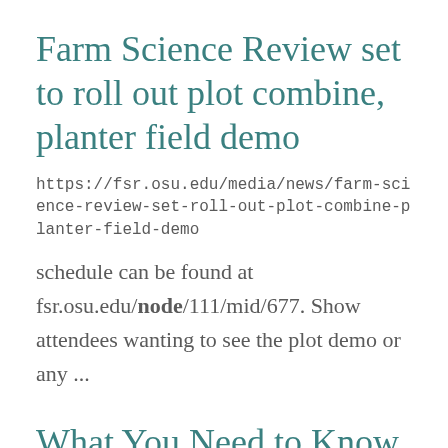Farm Science Review set to roll out plot combine, planter field demo
https://fsr.osu.edu/media/news/farm-science-review-set-roll-out-plot-combine-planter-field-demo
schedule can be found at fsr.osu.edu/node/111/mid/677. Show attendees wanting to see the plot demo or any ...
What You Need to Know About Animal Processing on the Farm in Ohio